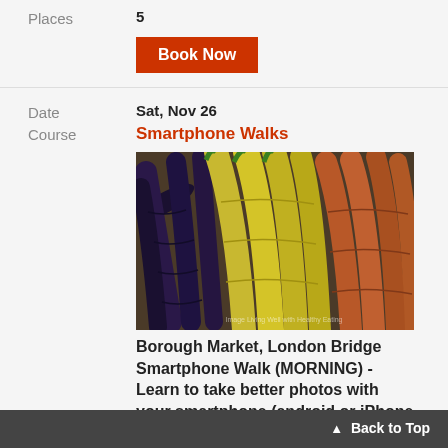Places   5
Book Now
Date   Sat, Nov 26
Course   Smartphone Walks
[Figure (photo): Close-up photo of three varieties of carrots — dark purple/black, yellow/green, and orange/brown — arranged side by side fanning outward.]
Borough Market, London Bridge Smartphone Walk (MORNING) - Learn to take better photos with your smartphone (android or iPhone apps list to download provided). Meet at 10am (If you can't make the morning walk check for availability on the one starting at 1:30pm) outside the Pret A
Back to Top